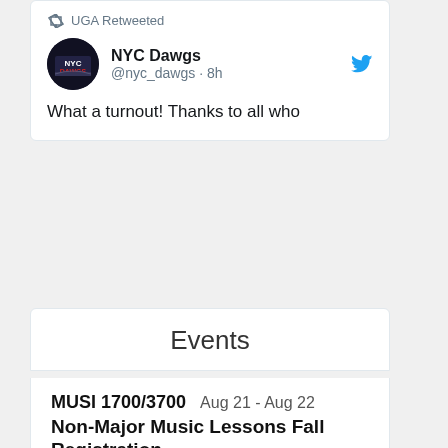[Figure (screenshot): Tweet card showing UGA Retweeted NYC Dawgs @nyc_dawgs 8h with text 'What a turnout! Thanks to all who']
Events
MUSI 1700/3700   Aug 21 - Aug 22
Non-Major Music Lessons Fall Registration
The UGA Community Music School offers private, one-on-one instruction to UGA undergraduate students on all instruments, including strings, woodwinds, brass, percussion, voice,...
Location: Hugh Hodgson School of Music
UGA Community   Aug 21 - Aug 22
Music School Fall Registration